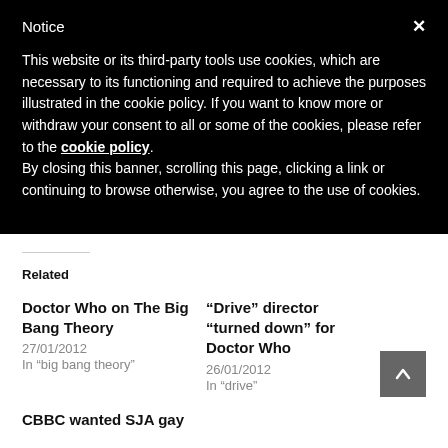Notice
This website or its third-party tools use cookies, which are necessary to its functioning and required to achieve the purposes illustrated in the cookie policy. If you want to know more or withdraw your consent to all or some of the cookies, please refer to the cookie policy. By closing this banner, scrolling this page, clicking a link or continuing to browse otherwise, you agree to the use of cookies.
Related
Doctor Who on The Big Bang Theory
27/01/2012
In "big bang theory"
“Drive” director “turned down” for Doctor Who
26/01/2012
In "drive"
CBBC wanted SJA gay